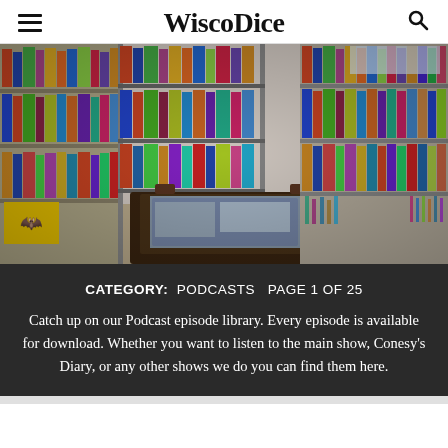WiscoDice
[Figure (photo): Interior of a board game room/collection with shelves full of board games, a playing table with a game in progress, Batman poster on the wall, and game miniatures on display.]
CATEGORY: PODCASTS  PAGE 1 OF 25
Catch up on our Podcast episode library. Every episode is available for download. Whether you want to listen to the main show, Conesy's Diary, or any other shows we do you can find them here.